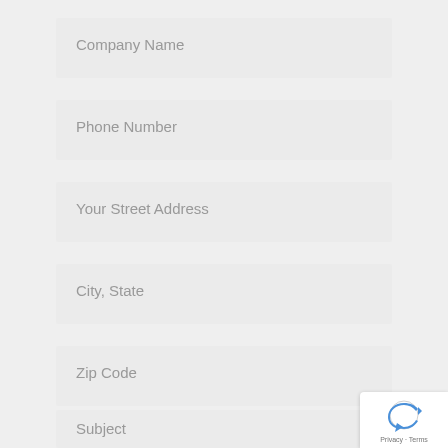Company Name
Phone Number
Your Street Address
City, State
Zip Code
Subject
[Figure (logo): reCAPTCHA badge with spinning arrow logo, Privacy and Terms links]